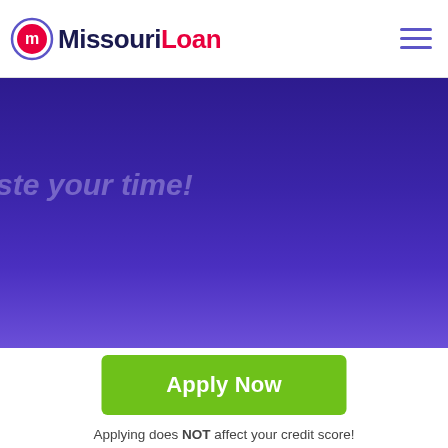MissouriLoan
[Figure (illustration): Dark purple hero banner with partially visible italic text 'ste your time!']
Apply Now
Applying does NOT affect your credit score!
No credit check to apply.